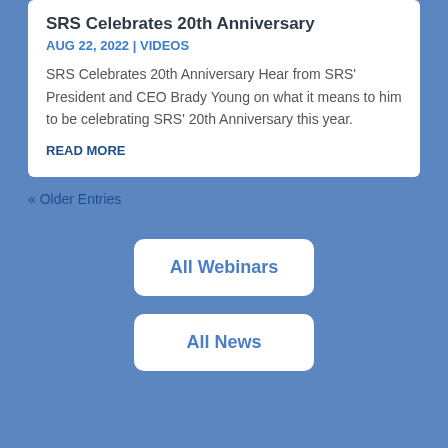SRS Celebrates 20th Anniversary
AUG 22, 2022 | VIDEOS
SRS Celebrates 20th Anniversary Hear from SRS' President and CEO Brady Young on what it means to him to be celebrating SRS' 20th Anniversary this year.
READ MORE
« Older Entries
All Webinars
All News